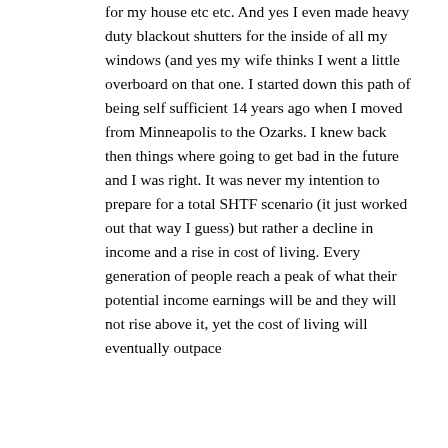for my house etc etc. And yes I even made heavy duty blackout shutters for the inside of all my windows (and yes my wife thinks I went a little overboard on that one. I started down this path of being self sufficient 14 years ago when I moved from Minneapolis to the Ozarks. I knew back then things where going to get bad in the future and I was right. It was never my intention to prepare for a total SHTF scenario (it just worked out that way I guess) but rather a decline in income and a rise in cost of living. Every generation of people reach a peak of what their potential income earnings will be and they will not rise above it, yet the cost of living will eventually outpace